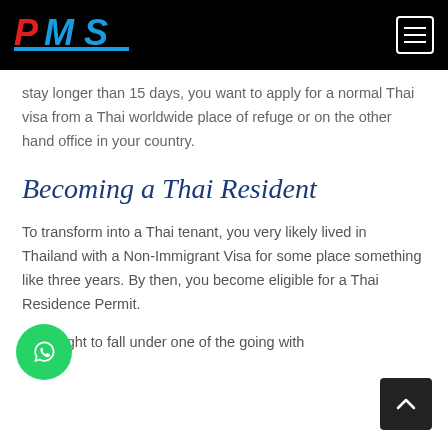PMS — Navigation header with logo and hamburger menu
stay longer than 15 days, you want to apply for a normal Thai visa from a Thai worldwide place of refuge or on the other hand office in your country.
Becoming a Thai Resident
To transform into a Thai tenant, you very likely lived in Thailand with a Non-Immigrant Visa for some place something like three years. By then, you become eligible for a Thai Residence Permit.
You ought to fall under one of the going with